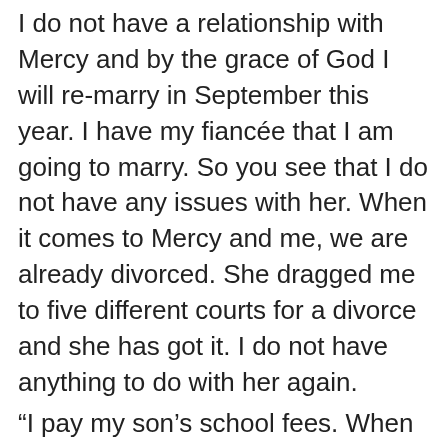I do not have a relationship with Mercy and by the grace of God I will re-marry in September this year. I have my fiancée that I am going to marry. So you see that I do not have any issues with her. When it comes to Mercy and me, we are already divorced. She dragged me to five different courts for a divorce and she has got it. I do not have anything to do with her again. “I pay my son’s school fees. When Michelle was with me, I was the one paying her school fees. She told me that she has been upgraded so she removed our son from the school we both enrolled him and I pay N380,000. She went to enroll the kid in a school that pays N980,000. I told her I could not afford it because I am not a drug trafficker neither am I an armed robber. I pay the amount that I can afford. When she brought her daughter to my house, I was the one taking care of the child as a father so when she takes Juwon to